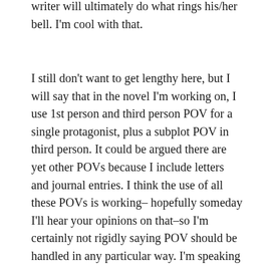writer will ultimately do what rings his/her bell. I'm cool with that.
I still don't want to get lengthy here, but I will say that in the novel I'm working on, I use 1st person and third person POV for a single protagonist, plus a subplot POV in third person. It could be argued there are yet other POVs because I include letters and journal entries. I think the use of all these POVs is working–hopefully someday I'll hear your opinions on that–so I'm certainly not rigidly saying POV should be handled in any particular way. I'm speaking of tendencies and, yes, advocating against rigid structural conceits that might overpower the narrative.